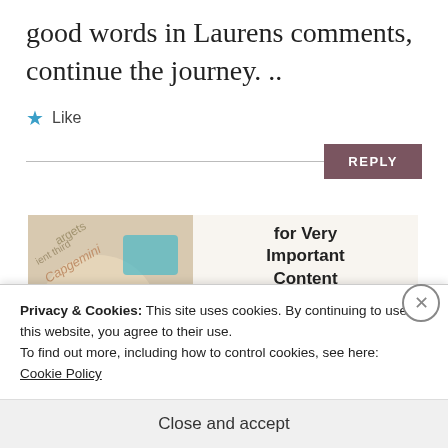good words in Laurens comments, continue the journey. ..
★ Like
REPLY
[Figure (illustration): WordPress VIP advertisement banner showing Capgemini and Salesforce branding elements with text 'for Very Important Content', WordPress VIP logo, and a 'Learn more' button]
Privacy & Cookies: This site uses cookies. By continuing to use this website, you agree to their use.
To find out more, including how to control cookies, see here:
Cookie Policy
Close and accept